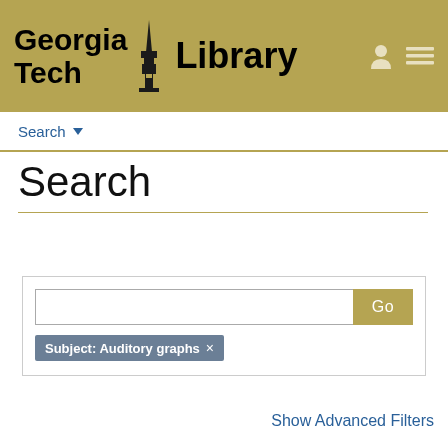[Figure (logo): Georgia Tech Library logo on gold/tan background header with person icon and hamburger menu icon]
Search ▾
Search
Subject: Auditory graphs ×
Show Advanced Filters